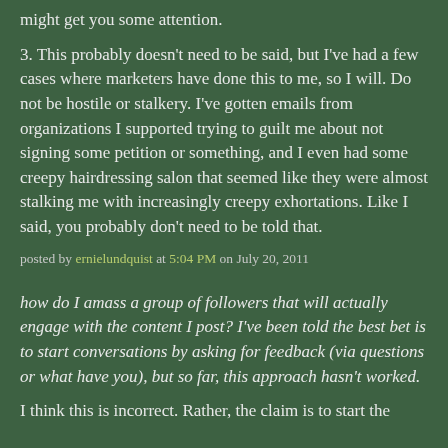might get you some attention.
3. This probably doesn't need to be said, but I've had a few cases where marketers have done this to me, so I will. Do not be hostile or stalkery. I've gotten emails from organizations I supported trying to guilt me about not signing some petition or something, and I even had some creepy hairdressing salon that seemed like they were almost stalking me with increasingly creepy exhortations. Like I said, you probably don't need to be told that.
posted by ernielundquist at 5:04 PM on July 20, 2011
how do I amass a group of followers that will actually engage with the content I post? I've been told the best bet is to start conversations by asking for feedback (via questions or what have you), but so far, this approach hasn't worked.
I think this is incorrect. Rather, the claim is to start the